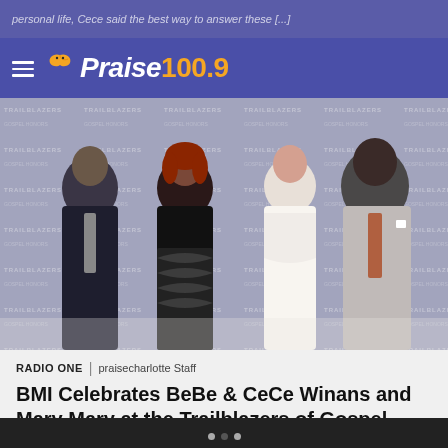personal life, Cece said the best way to answer these [...]
Praise 100.9
[Figure (photo): Four people posing at the BMI Trailblazers of Gospel Music Honors event. Two men in suits flank two women, one in a black patterned dress and one in a white outfit. A 'TRAILBLAZERS' step-and-repeat banner is visible in the background.]
RADIO ONE | praisecharlotte Staff
BMI Celebrates BeBe & CeCe Winans and Mary Mary at the Trailblazers of Gospel Music Honors
"AMAZING" BY RICKY DILLARD & NEW G FEATURING TIFF JOY AWARDED SONG OF THE YEAR **The Inspirational Event Will Air